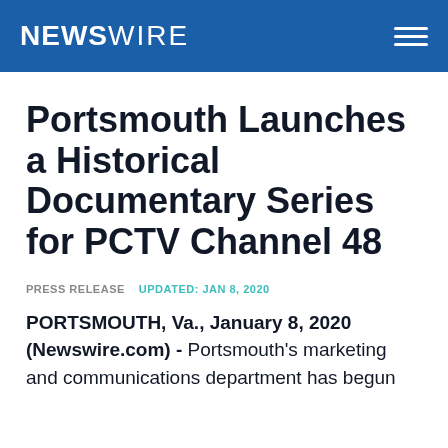NEWSWIRE
Portsmouth Launches a Historical Documentary Series for PCTV Channel 48
PRESS RELEASE   UPDATED: JAN 8, 2020
PORTSMOUTH, Va., January 8, 2020 (Newswire.com) - Portsmouth's marketing and communications department has begun